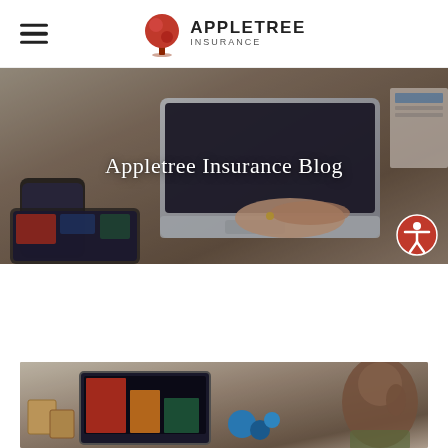Appletree Insurance
[Figure (photo): Hero banner image showing hands typing on a laptop keyboard on a wooden desk, with a smartphone and tablet nearby. Text overlay reads 'Appletree Insurance Blog'.]
Appletree Insurance Blog
The Five Advantages Of Bond Insurance Policies
1/24/2022   0 Comments
[Figure (photo): Photo of a man viewed from behind looking at a laptop screen showing colorful data/charts, with boxes on the left and blue decorative objects on the desk.]